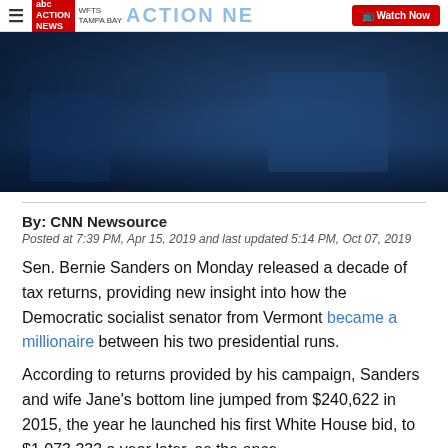ABC Action News WFTS Tampa Bay — Watch Now
[Figure (photo): Dark blue toned video thumbnail image, appears to be a news broadcast still]
By: CNN Newsource
Posted at 7:39 PM, Apr 15, 2019 and last updated 5:14 PM, Oct 07, 2019
Sen. Bernie Sanders on Monday released a decade of tax returns, providing new insight into how the Democratic socialist senator from Vermont became a millionaire between his two presidential runs.
According to returns provided by his campaign, Sanders and wife Jane's bottom line jumped from $240,622 in 2015, the year he launched his first White House bid, to $1,073,333 a year later, as the once